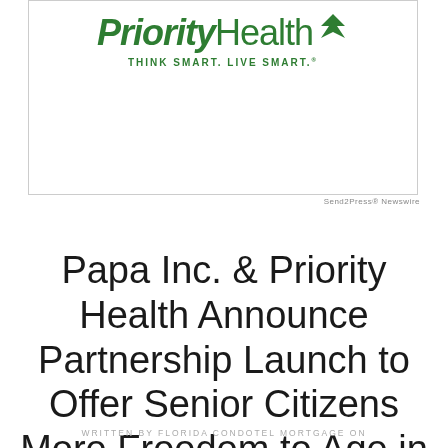[Figure (logo): Priority Health logo with leaf graphic and tagline 'THINK SMART. LIVE SMART.']
Send2Press® Newswire
Papa Inc. & Priority Health Announce Partnership Launch to Offer Senior Citizens More Freedom to Age in Place
WRITTEN BY FLORIDA CONDOTEL MORTGAGE ON